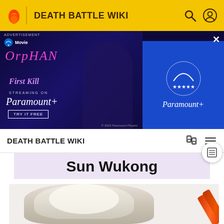DEATH BATTLE WIKI
[Figure (screenshot): Advertisement banner for Orphan: First Kill streaming on Paramount+. Shows the movie title in pink stylized text on a dark purple/blue background with a character image on the left and Paramount+ logo on the right.]
DEATH BATTLE WIKI
Sun Wukong
[Figure (photo): Partial image of Sun Wukong character showing white/blonde fur and a staff/weapon, cropped at the bottom of the page.]